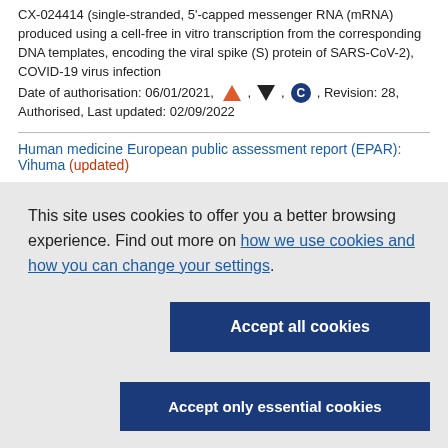CX-024414 (single-stranded, 5'-capped messenger RNA (mRNA) produced using a cell-free in vitro transcription from the corresponding DNA templates, encoding the viral spike (S) protein of SARS-CoV-2), COVID-19 virus infection
Date of authorisation: 06/01/2021, [triangle icon], [triangle icon], [C icon], Revision: 28, Authorised, Last updated: 02/09/2022
Human medicine European public assessment report (EPAR): Vihuma (updated)
This site uses cookies to offer you a better browsing experience. Find out more on how we use cookies and how you can change your settings.
Accept all cookies
Accept only essential cookies